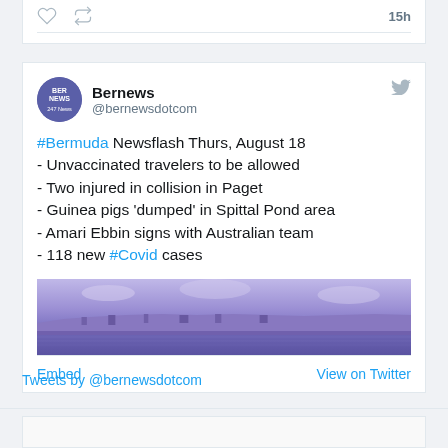[Figure (screenshot): Partial Twitter tweet card top with like/retweet icons and 15h timestamp]
Bernews @bernewsdotcom
#Bermuda Newsflash Thurs, August 18
- Unvaccinated travelers to be allowed
- Two injured in collision in Paget
- Guinea pigs 'dumped' in Spittal Pond area
- Amari Ebbin signs with Australian team
- 118 new #Covid cases
[Figure (photo): Purple-tinted aerial/coastal panoramic photo of Bermuda]
Embed    View on Twitter
Tweets by @bernewsdotcom